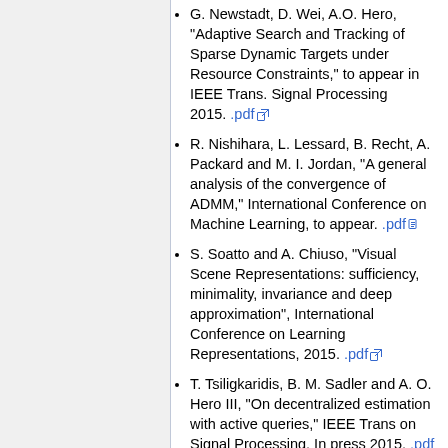G. Newstadt, D. Wei, A.O. Hero, "Adaptive Search and Tracking of Sparse Dynamic Targets under Resource Constraints," to appear in IEEE Trans. Signal Processing 2015. .pdf
R. Nishihara, L. Lessard, B. Recht, A. Packard and M. I. Jordan, "A general analysis of the convergence of ADMM," International Conference on Machine Learning, to appear. .pdf
S. Soatto and A. Chiuso, "Visual Scene Representations: sufficiency, minimality, invariance and deep approximation", International Conference on Learning Representations, 2015. .pdf
T. Tsiligkaridis, B. M. Sadler and A. O. Hero III, "On decentralized estimation with active queries," IEEE Trans on Signal Processing. In press 2015. .pdf
D. Wei and A.O. Hero, "Performance Guarantees for Adaptive Estimation of Sparse Signals," IEEE Trans. on Information Theory, vol. 61, no. 4, pp.